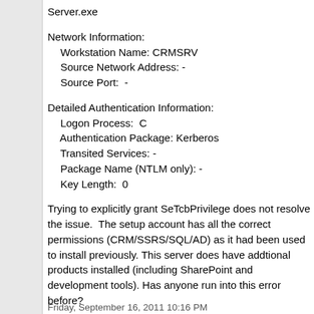Server.exe
Network Information:
 Workstation Name: CRMSRV
 Source Network Address: -
 Source Port:  -
Detailed Authentication Information:
 Logon Process:  C
 Authentication Package: Kerberos
 Transited Services: -
 Package Name (NTLM only): -
 Key Length:  0
Trying to explicitly grant SeTcbPrivilege does not resolve the issue.  The setup account has all the correct permissions (CRM/SSRS/SQL/AD) as it had been used to install previously. This server does have addtional products installed (including SharePoint and development tools). Has anyone run into this error before?
Friday, September 16, 2011 10:16 PM